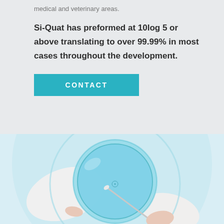medical and veterinary areas.
Si-Quat has preformed at 10log 5 or above translating to over 99.99% in most cases throughout the development.
CONTACT
[Figure (photo): A person in white coat holding a glass flask or petri dish with light blue liquid, photographed from above against a light blue/white background.]